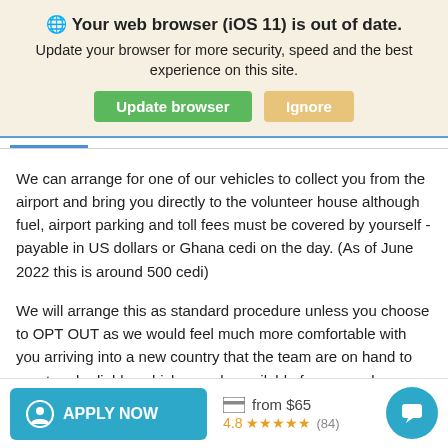🌐 Your web browser (iOS 11) is out of date. Update your browser for more security, speed and the best experience on this site.
We can arrange for one of our vehicles to collect you from the airport and bring you directly to the volunteer house although fuel, airport parking and toll fees must be covered by yourself - payable in US dollars or Ghana cedi on the day. (As of June 2022 this is around 500 cedi)
We will arrange this as standard procedure unless you choose to OPT OUT as we would feel much more comfortable with you arriving into a new country that the team are on hand to greet and reliable vehicles made available for you and your luggage. Upon arrival our Volunteer Support and Driver (Frank & Eben) will
APPLY NOW  from $65  4.8 ★★★★★ (84)